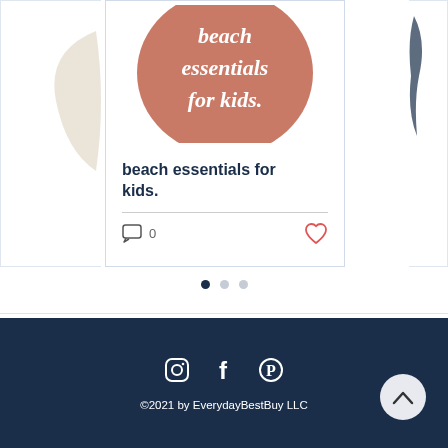[Figure (screenshot): Blog post card for 'beach essentials for kids.' showing a terracotta/salmon colored circle with italic white text reading 'beach essentials for kids.' The card has a comment icon with count 0 and a heart/like icon in coral red.]
[Figure (infographic): Pagination dots row with three dots; first dot is dark navy (active), second and third are light gray.]
©2021 by EverydayBestBuy LLC